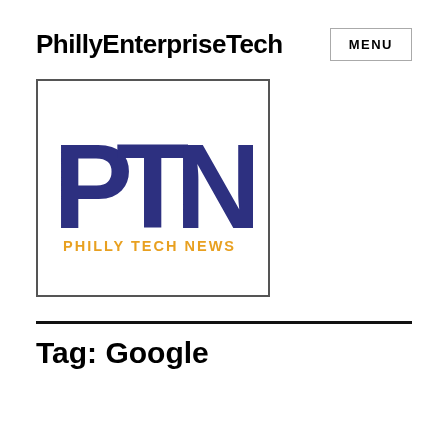PhillyEnterpriseTech
[Figure (logo): PTN Philly Tech News logo — large dark navy letters P, T, N with orange text 'PHILLY TECH NEWS' below, framed in a square border]
Tag: Google